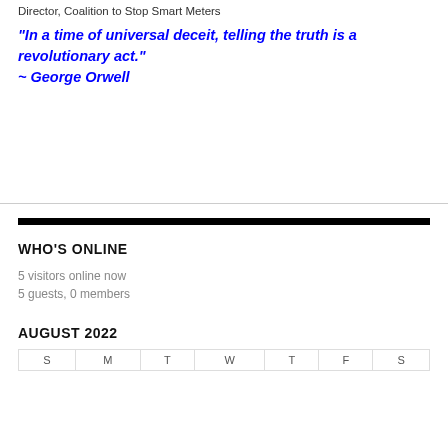Director, Coalition to Stop Smart Meters
"In a time of universal deceit, telling the truth is a revolutionary act."
~ George Orwell
WHO'S ONLINE
5 visitors online now
5 guests, 0 members
AUGUST 2022
| S | M | T | W | T | F | S |
| --- | --- | --- | --- | --- | --- | --- |